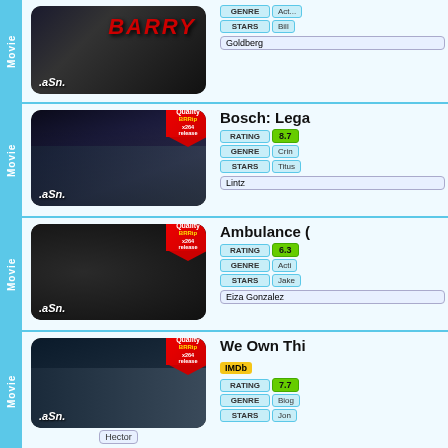[Figure (screenshot): Movie/show listing row 1 - Barry - thumbnail with .aSn. watermark]
GENRE | Act...
STARS | Bill Goldberg
[Figure (screenshot): Movie/show listing row 2 - Bosch: Legacy - thumbnail with Quality BRRip badge]
Bosch: Lega...
RATING 8.7
GENRE Crin...
STARS Titus Lintz
[Figure (screenshot): Movie/show listing row 3 - Ambulance - thumbnail with Quality BRRip badge]
Ambulance (
RATING 6.3
GENRE Acti...
STARS Jake... Eiza Gonzalez
[Figure (screenshot): Movie/show listing row 4 - We Own This... - thumbnail with Quality BRRip badge]
We Own Thi...
IMDb
RATING 7.7
GENRE Biog...
STARS Jon...
Hector
[Figure (screenshot): Movie/show listing row 5 - The Outfit - thumbnail with Quality BRRip badge]
The Outfit (2...
RATING 7.3
GENRE Cri...